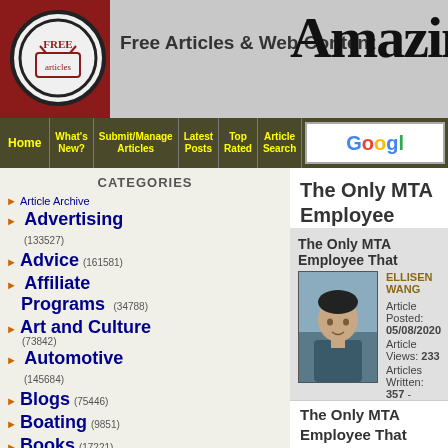[Figure (screenshot): Website header with logo, 'Free Articles & Web Content' text, and 'Amazing' title in blackletter font]
Free Articles & Web Content | Amazing
Home | What's New? | Submit/Manage Articles | Latest Posts | Top Rated | Article Search | Google
CATEGORIES
Article Archive
Advertising (133527)
Advice (161581)
Affiliate Programs (34788)
Art and Culture (73842)
Automotive (145684)
Blogs (75446)
Boating (9851)
Books (17221)
Buddhism (4129)
Business (1330103)
Business News (426438)
Business Opportunities (366486)
The Only MTA Employee That Doesn't... Wang
The Only MTA Employee That...
ELLISEN WANG
Article Posted: 05/08/2020
Article Views: 233
Articles Written: 357 - MORE ARTIC...
Word Count: 378
Article Votes: 0
The Only MTA Employee That Doesn't Ha... Job